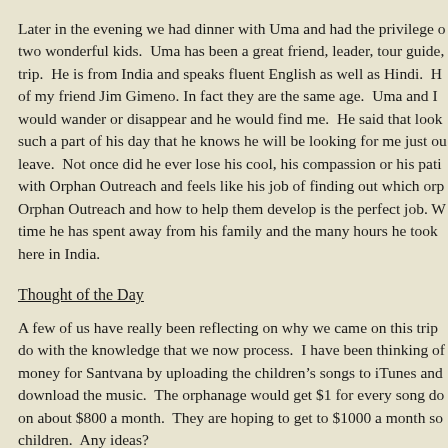Later in the evening we had dinner with Uma and had the privilege of two wonderful kids. Uma has been a great friend, leader, tour guide, trip. He is from India and speaks fluent English as well as Hindi. H of my friend Jim Gimeno. In fact they are the same age. Uma and I would wander or disappear and he would find me. He said that look such a part of his day that he knows he will be looking for me just ou leave. Not once did he ever lose his cool, his compassion or his pati with Orphan Outreach and feels like his job of finding out which orp Orphan Outreach and how to help them develop is the perfect job. W time he has spent away from his family and the many hours he took here in India.
Thought of the Day
A few of us have really been reflecting on why we came on this trip do with the knowledge that we now process. I have been thinking of money for Santvana by uploading the children's songs to iTunes and download the music. The orphanage would get $1 for every song do on about $800 a month. They are hoping to get to $1000 a month so children. Any ideas?
Dean